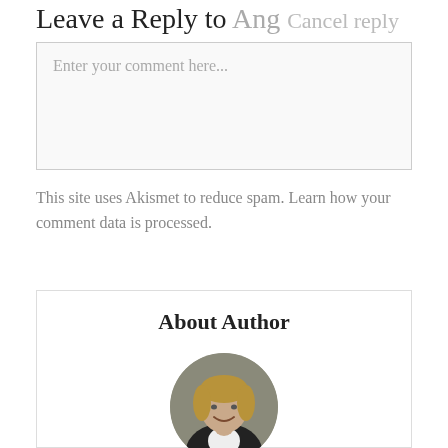Leave a Reply to Ang Cancel reply
Enter your comment here...
This site uses Akismet to reduce spam. Learn how your comment data is processed.
About Author
[Figure (photo): Circular portrait photo of a smiling woman with short blonde hair wearing a dark jacket]
Linda Hoye
I'm a writer, reader, photographer, and